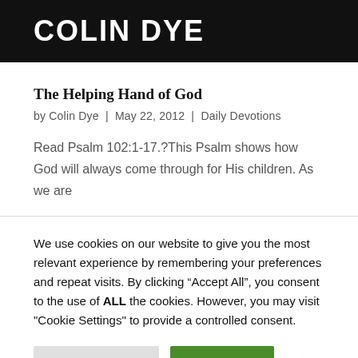COLIN DYE
The Helping Hand of God
by Colin Dye | May 22, 2012 | Daily Devotions
Read Psalm 102:1-17.?This Psalm shows how God will always come through for His children. As we are
We use cookies on our website to give you the most relevant experience by remembering your preferences and repeat visits. By clicking “Accept All”, you consent to the use of ALL the cookies. However, you may visit "Cookie Settings" to provide a controlled consent.
Cookie Settings    Accept All